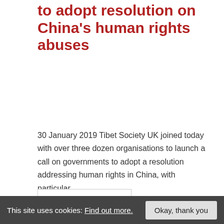Tibet Society urges UN to adopt resolution on China's human rights abuses
30 January 2019 Tibet Society UK joined today with over three dozen organisations to launch a call on governments to adopt a resolution addressing human rights in China, with particular…
Continue Reading ›
[Figure (other): Green banner/block at the bottom of the article listing area]
This site uses cookies: Find out more.
Okay, thank you